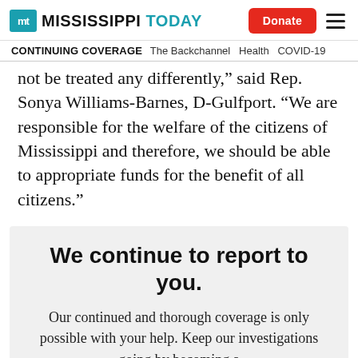Mississippi Today | Donate
CONTINUING COVERAGE  The Backchannel  Health  COVID-19
not be treated any differently,” said Rep. Sonya Williams-Barnes, D-Gulfport. “We are responsible for the welfare of the citizens of Mississippi and therefore, we should be able to appropriate funds for the benefit of all citizens.”
We continue to report to you.
Our continued and thorough coverage is only possible with your help. Keep our investigations going by becoming a